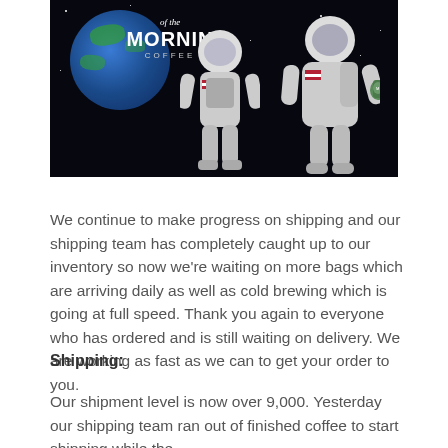[Figure (photo): Two astronauts in spacesuits floating in space, with a green Earth globe visible in the background. Text overlay reads 'of the MORNIN COFFEE'.]
We continue to make progress on shipping and our shipping team has completely caught up to our inventory so now we're waiting on more bags which are arriving daily as well as cold brewing which is going at full speed. Thank you again to everyone who has ordered and is still waiting on delivery. We are working as fast as we can to get your order to you.
Shipping:
Our shipment level is now over 9,000. Yesterday our shipping team ran out of finished coffee to start shipping while the